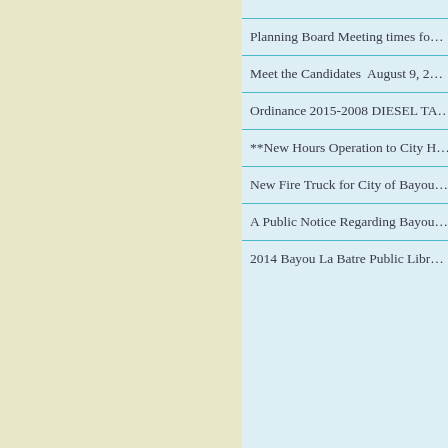Planning Board Meeting times fo…
Meet the Candidates  August 9, 2…
Ordinance 2015-2008 DIESEL TA…
**New Hours Operation to City H…
New Fire Truck for City of Bayou…
A Public Notice Regarding Bayou…
2014 Bayou La Batre Public Libr…